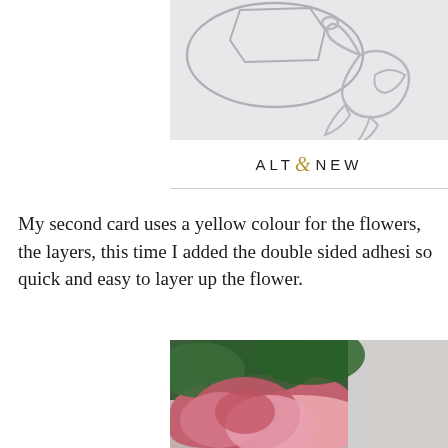[Figure (photo): Top image showing silver metal die cuts including a flamingo shape and circular/oval shapes on a light grey background]
[Figure (logo): ALTENEW logo with decorative ampersand in gold/brown]
My second card uses a yellow colour for the flowers, the layers, this time I added the double sided adhesive so quick and easy to layer up the flower.
[Figure (photo): Bottom image showing pink roses and dark green foliage against a light grey background]